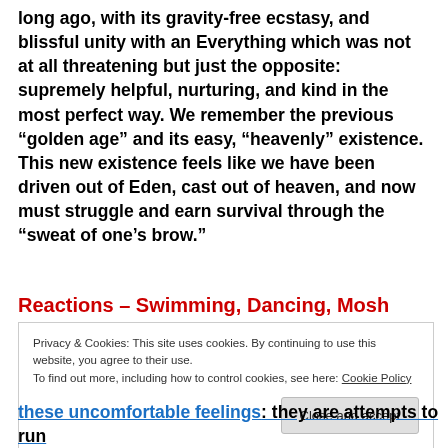long ago, with its gravity-free ecstasy, and blissful unity with an Everything which was not at all threatening but just the opposite: supremely helpful, nurturing, and kind in the most perfect way. We remember the previous “golden age” and its easy, “heavenly” existence. This new existence feels like we have been driven out of Eden, cast out of heaven, and now must struggle and earn survival through the “sweat of one’s brow.”
Reactions – Swimming, Dancing, Mosh
Privacy & Cookies: This site uses cookies. By continuing to use this website, you agree to their use.
To find out more, including how to control cookies, see here: Cookie Policy
these uncomfortable feelings: they are attempts to run